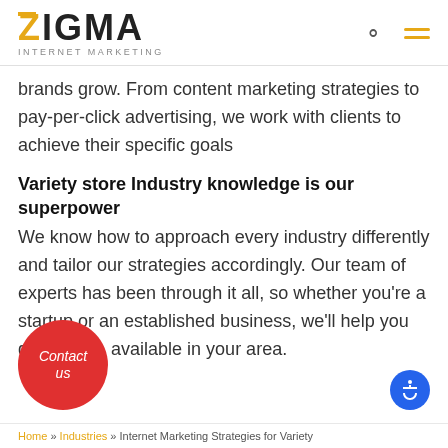ZIGMA INTERNET MARKETING
brands grow. From content marketing strategies to pay-per-click advertising, we work with clients to achieve their specific goals
Variety store Industry knowledge is our superpower
We know how to approach every industry differently and tailor our strategies accordingly. Our team of experts has been through it all, so whether you're a startup or an established business, we'll help you get results. available in your area.
Home » Industries » Internet Marketing Strategies for Variety